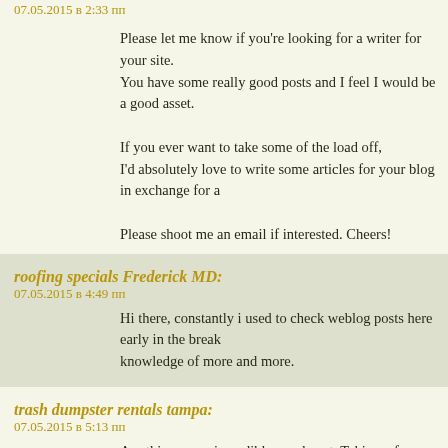07.05.2015 в 2:33 пп
Please let me know if you're looking for a writer for your site. You have some really good posts and I feel I would be a good asset.

If you ever want to take some of the load off, I'd absolutely love to write some articles for your blog in exchange for a

Please shoot me an email if interested. Cheers!
roofing specials Frederick MD:
07.05.2015 в 4:49 пп
Hi there, constantly i used to check weblog posts here early in the break knowledge of more and more.
trash dumpster rentals tampa:
07.05.2015 в 5:13 пп
Aw, this was an incredibly good post. Taking a few minutes and actual e article… but what can I say… I hesitate a lot and don't seem to get anything done.
termite and pest control:
07.05.2015 в 7:08 пп